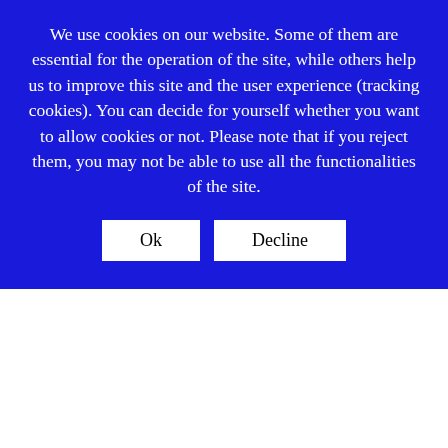We use cookies on our website. Some of them are essential for the operation of the site, while others help us to improve this site and the user experience (tracking cookies). You can decide for yourself whether you want to allow cookies or not. Please note that if you reject them, you may not be able to use all the functionalities of the site.
Ok | Decline
On receipt of a Subject Access Request, we may require additional documentation or information from you to verify that the Personal Information you are requesting does relate to you. Once we have verified your identity, we will provide you with the information we hold about you within 30 calendar days.
COOKIES POLICY
WHAT IS A COOKIE?
A "cookie" is a piece of information that is stored on your computer's hard drive and which records how you move your way around a website so that, when you revisit that website, it can present tailored options based on the information stored about your last visit. Cookies can also be